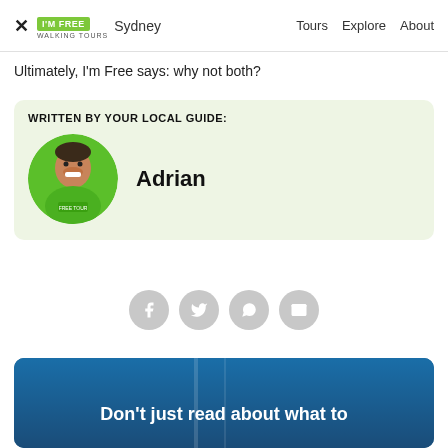I'M FREE Walking Tours Sydney  Tours  Explore  About
Ultimately, I'm Free says: why not both?
WRITTEN BY YOUR LOCAL GUIDE:
[Figure (photo): Circular portrait photo of Adrian, a smiling man wearing a green 'FREE TOUR' t-shirt]
Adrian
[Figure (infographic): Row of four circular social share buttons: Facebook, Twitter, WhatsApp, Email]
[Figure (photo): Partial view of a promo card with blue sky background and white text reading: Don't just read about what to]